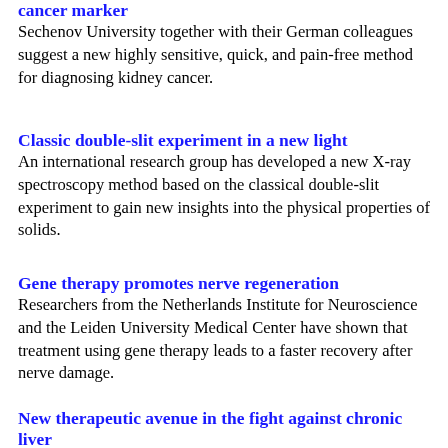cancer marker
Sechenov University together with their German colleagues suggest a new highly sensitive, quick, and pain-free method for diagnosing kidney cancer.
Classic double-slit experiment in a new light
An international research group has developed a new X-ray spectroscopy method based on the classical double-slit experiment to gain new insights into the physical properties of solids.
Gene therapy promotes nerve regeneration
Researchers from the Netherlands Institute for Neuroscience and the Leiden University Medical Center have shown that treatment using gene therapy leads to a faster recovery after nerve damage.
New therapeutic avenue in the fight against chronic liver